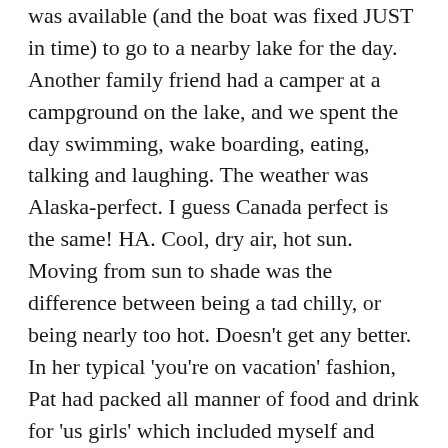was available (and the boat was fixed JUST in time) to go to a nearby lake for the day. Another family friend had a camper at a campground on the lake, and we spent the day swimming, wake boarding, eating, talking and laughing. The weather was Alaska-perfect. I guess Canada perfect is the same! HA. Cool, dry air, hot sun.  Moving from sun to shade was the difference between being a tad chilly, or being nearly too hot. Doesn't get any better. In her typical 'you're on vacation' fashion, Pat had packed all manner of food and drink for 'us girls' which included myself and Laney, Pat, her teen granddaughters Emily and Sarah and her little granddaughters, in the 7 to 9 year range. Oh and her son, the token male. HA.